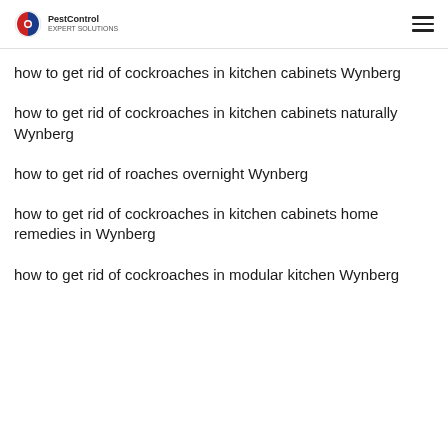PestControl
how to get rid of cockroaches in kitchen cabinets Wynberg
how to get rid of cockroaches in kitchen cabinets naturally Wynberg
how to get rid of roaches overnight Wynberg
how to get rid of cockroaches in kitchen cabinets home remedies in Wynberg
how to get rid of cockroaches in modular kitchen Wynberg